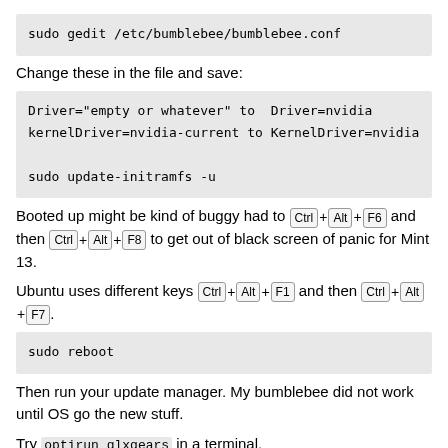sudo gedit /etc/bumblebee/bumblebee.conf
Change these in the file and save:
Driver="empty or whatever" to  Driver=nvidia
kernelDriver=nvidia-current to KernelDriver=nvidia

sudo update-initramfs -u
Booted up might be kind of buggy had to Ctrl+Alt+F6 and then Ctrl+Alt+F8 to get out of black screen of panic for Mint 13.
Ubuntu uses different keys Ctrl+Alt+F1 and then Ctrl+Alt+F7.
sudo reboot
Then run your update manager. My bumblebee did not work until OS go the new stuff.
Try optirun glxgears in a terminal.